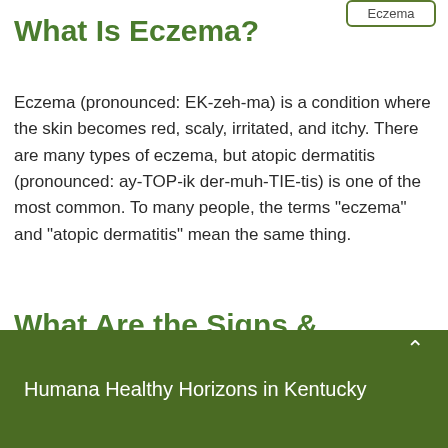Eczema
What Is Eczema?
Eczema (pronounced: EK-zeh-ma) is a condition where the skin becomes red, scaly, irritated, and itchy. There are many types of eczema, but atopic dermatitis (pronounced: ay-TOP-ik der-muh-TIE-tis) is one of the most common. To many people, the terms "eczema" and "atopic dermatitis" mean the same thing.
What Are the Signs &
Humana Healthy Horizons in Kentucky